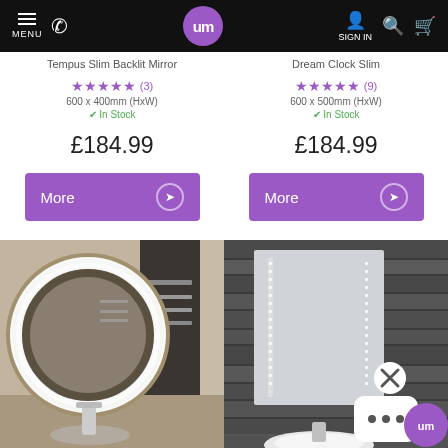MENU | Phone | UM logo | SIGN IN | Search | Cart
Tempus Slim Backlit Mirror
★★★★★ (3)
600 x 400mm (HxW)
✔ In Stock
£184.99
Dream Clock Slim
★★★★★ (9)
600 x 500mm (HxW)
✔ In Stock
£184.99
[Figure (photo): Round illuminated bathroom mirror with bright white LED ring, wall-mounted above a basin with chrome tap, dark tile surround.]
[Figure (photo): Rectangular backlit bathroom mirror mounted on grey stacked stone wall above a white basin; shows a popup overlay with UM logo and ellipsis icon.]